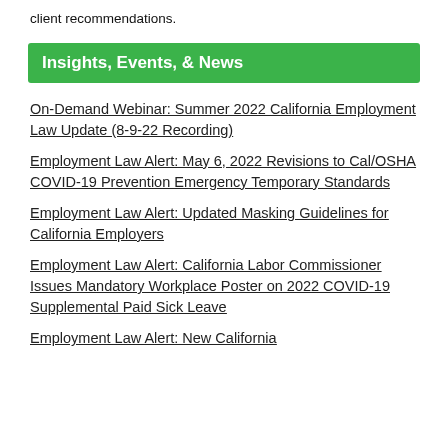client recommendations.
Insights, Events, & News
On-Demand Webinar: Summer 2022 California Employment Law Update (8-9-22 Recording)
Employment Law Alert: May 6, 2022 Revisions to Cal/OSHA COVID-19 Prevention Emergency Temporary Standards
Employment Law Alert: Updated Masking Guidelines for California Employers
Employment Law Alert: California Labor Commissioner Issues Mandatory Workplace Poster on 2022 COVID-19 Supplemental Paid Sick Leave
Employment Law Alert: New California...